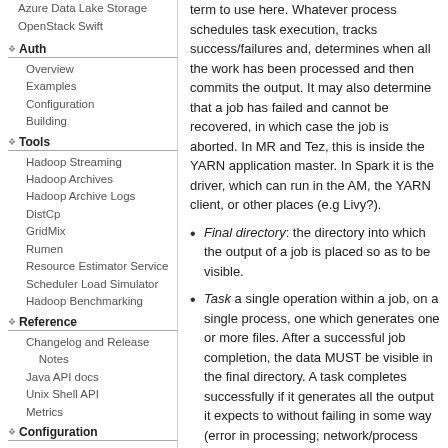Azure Data Lake Storage
OpenStack Swift
Auth
Overview
Examples
Configuration
Building
Tools
Hadoop Streaming
Hadoop Archives
Hadoop Archive Logs
DistCp
GridMix
Rumen
Resource Estimator Service
Scheduler Load Simulator
Hadoop Benchmarking
Reference
Changelog and Release Notes
Java API docs
Unix Shell API
Metrics
Configuration
core-default.xml
hdfs-default.xml
hdfs-rbf-default.xml
mapred-default.xml
term to use here. Whatever process schedules task execution, tracks success/failures and, determines when all the work has been processed and then commits the output. It may also determine that a job has failed and cannot be recovered, in which case the job is aborted. In MR and Tez, this is inside the YARN application master. In Spark it is the driver, which can run in the AM, the YARN client, or other places (e.g Livy?).
Final directory: the directory into which the output of a job is placed so as to be visible.
Task a single operation within a job, on a single process, one which generates one or more files. After a successful job completion, the data MUST be visible in the final directory. A task completes successfully if it generates all the output it expects to without failing in some way (error in processing; network/process failure).